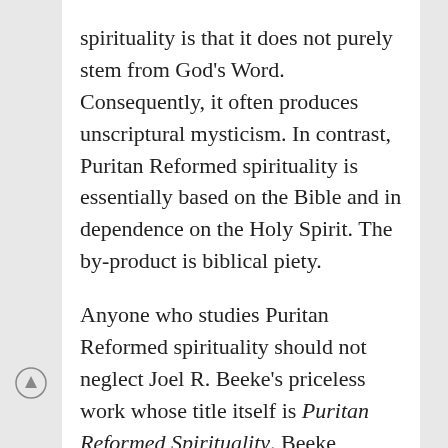spirituality is that it does not purely stem from God's Word. Consequently, it often produces unscriptural mysticism. In contrast, Puritan Reformed spirituality is essentially based on the Bible and in dependence on the Holy Spirit. The by-product is biblical piety.

Anyone who studies Puritan Reformed spirituality should not neglect Joel R. Beeke's priceless work whose title itself is Puritan Reformed Spirituality. Beeke, president of Puritan Reformed